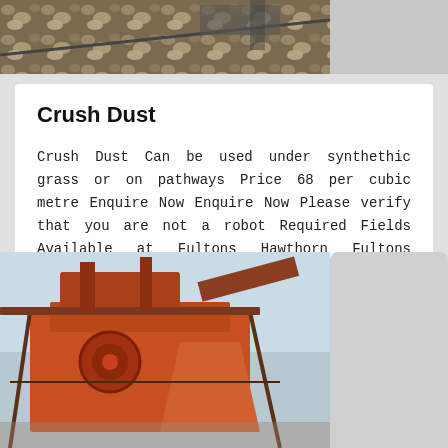[Figure (photo): Top photo showing crushed stone/gravel material being processed, industrial setting]
Crush Dust
Crush Dust Can be used under synthethic grass or on pathways Price 68 per cubic metre Enquire Now Enquire Now Please verify that you are not a robot Required Fields Available at Fultons Hawthorn Fultons Wantirna Fultons Cheltenham
Haz clic para chatear
[Figure (photo): Bottom photo showing large industrial crushing/screening machinery with orange/rust colored equipment against a light blue sky]